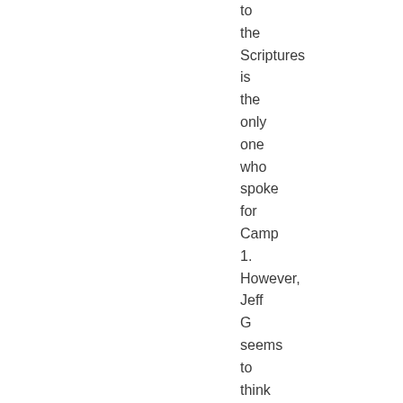to the Scriptures is the only one who spoke for Camp 1. However, Jeff G seems to think my camps are misconstrued as well (#7), so perhaps